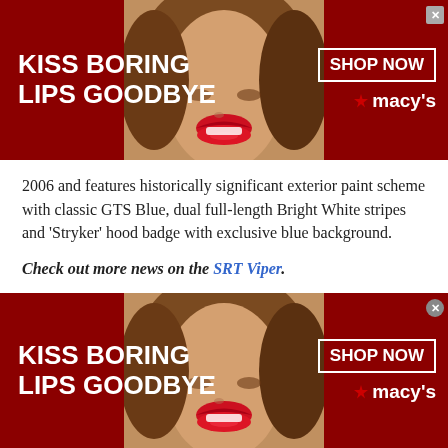[Figure (infographic): Macy's advertisement banner: 'KISS BORING LIPS GOODBYE' in white bold text on dark red background, woman's face with red lipstick in center, 'SHOP NOW' button and Macy's star logo on right, close X button top right.]
2006 and features historically significant exterior paint scheme with classic GTS Blue, dual full-length Bright White stripes and ‘Stryker’ hood badge with exclusive blue background.
Check out more news on the SRT Viper.
“Designed with Viper loyalists in mind, the 2013 SRT Viper GTS Launch Edition model brings back the classic paint schemes that have adorned all previous Viper coupe launches to help us celebrate the return of our brand’s flagship performance machine to the supercar market,” said Ralph Gilles, President and CEO – Street
[Figure (infographic): Macy's advertisement banner (bottom): 'KISS BORING LIPS GOODBYE' in white bold text on dark red background, woman's face with red lipstick in center, 'SHOP NOW' button and Macy's star logo on right.]